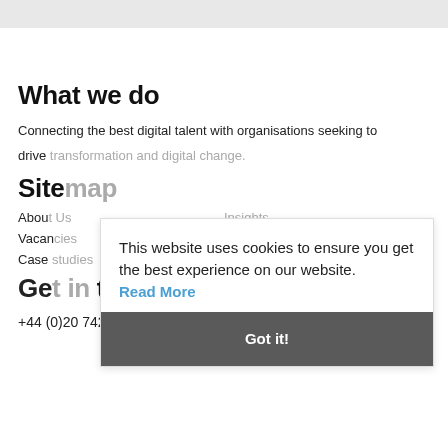What we do
Connecting the best digital talent with organisations seeking to drive transformation and digital change.
Sitemap
About Us    Insights
Vacancies   Events
Case studies   Meet the team
Get in touch
+44 (0)20 7422 9000
This website uses cookies to ensure you get the best experience on our website.
Read More
Got it!